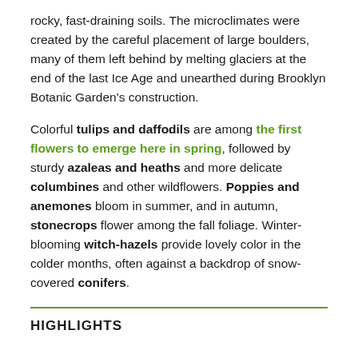rocky, fast-draining soils. The microclimates were created by the careful placement of large boulders, many of them left behind by melting glaciers at the end of the last Ice Age and unearthed during Brooklyn Botanic Garden's construction.
Colorful tulips and daffodils are among the first flowers to emerge here in spring, followed by sturdy azaleas and heaths and more delicate columbines and other wildflowers. Poppies and anemones bloom in summer, and in autumn, stonecrops flower among the fall foliage. Winter-blooming witch-hazels provide lovely color in the colder months, often against a backdrop of snow-covered conifers.
HIGHLIGHTS